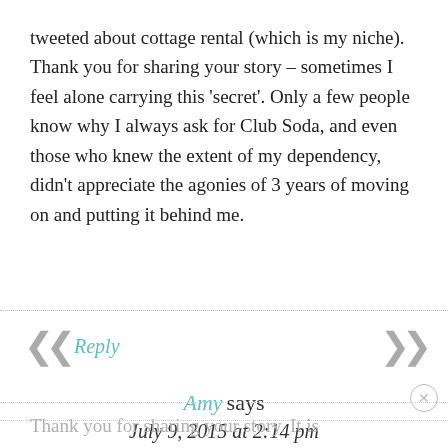tweeted about cottage rental (which is my niche). Thank you for sharing your story – sometimes I feel alone carrying this ‘secret’. Only a few people know why I always ask for Club Soda, and even those who knew the extent of my dependency, didn’t appreciate the agonies of 3 years of moving on and putting it behind me.
Reply
Amy says
July 9, 2015 at 2:14 pm
Thank you for sharing your story. It is